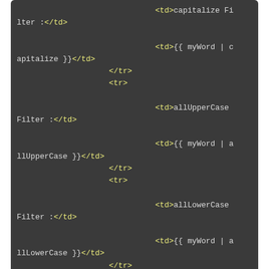[Figure (screenshot): Code editor screenshot showing HTML template code with td tags for capitalize, allUpperCase, and allLowerCase filters, closing tr, tr, table, div, and div tags]
The next step is to create our 3 filters function.